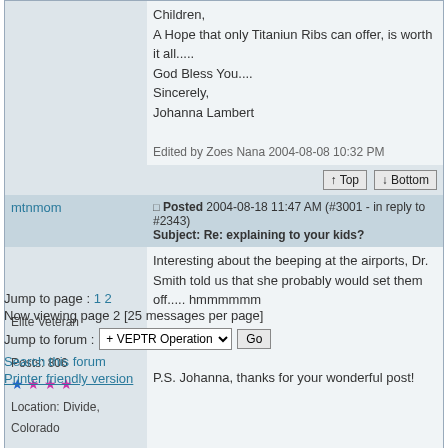Children,
A Hope that only Titaniun Ribs can offer, is worth it all.....
God Bless You....
Sincerely,
Johanna Lambert

Edited by Zoes Nana 2004-08-08 10:32 PM
↑ Top  ↓ Bottom
mtnmom
Posted 2004-08-18 11:47 AM (#3001 - in reply to #2343)
Subject: Re: explaining to your kids?
Elite Veteran
Posts: 806
★ ★ ★ ★
Location: Divide, Colorado
Interesting about the beeping at the airports, Dr. Smith told us that she probably would set them off..... hmmmmmm

Brenn

P.S. Johanna, thanks for your wonderful post!
↑ Top  ↓ Bottom
Jump to page : 1 2
Now viewing page 2 [25 messages per page]
Jump to forum : + VEPTR Operation   Go
Search this forum
Printer friendly version